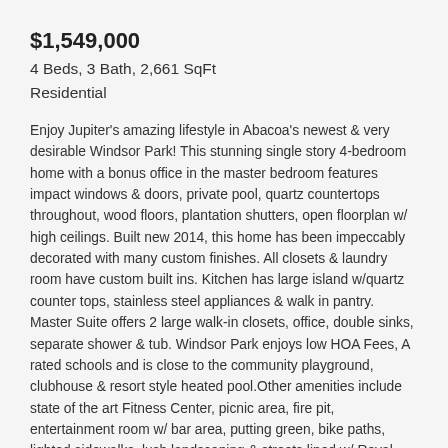$1,549,000
4 Beds, 3 Bath, 2,661 SqFt
Residential
Enjoy Jupiter's amazing lifestyle in Abacoa's newest & very desirable Windsor Park! This stunning single story 4-bedroom home with a bonus office in the master bedroom features impact windows & doors, private pool, quartz countertops throughout, wood floors, plantation shutters, open floorplan w/ high ceilings. Built new 2014, this home has been impeccably decorated with many custom finishes. All closets & laundry room have custom built ins. Kitchen has large island w/quartz counter tops, stainless steel appliances & walk in pantry. Master Suite offers 2 large walk-in closets, office, double sinks, separate shower & tub. Windsor Park enjoys low HOA Fees, A rated schools and is close to the community playground, clubhouse & resort style heated pool.Other amenities include state of the art Fitness Center, picnic area, fire pit, entertainment room w/ bar area, putting green, bike paths, lighted sidewalks, lush landscaping & streets lined w/ Royal Palm trees. Close to Jupiter beaches, golf courses, marinas, boat clubs, recreational parks, great restaurants & high-end Shopping. Easy access to major highways. 25 Min to Palm Beach International Airport. Bike to Downtown Abacoa & enjoy a baseball game at Roger Dean Stadium, concerts at the outdoor Amphitheater, coffee shop, annual festivals, Brew House & much more! Seller will need 6 month